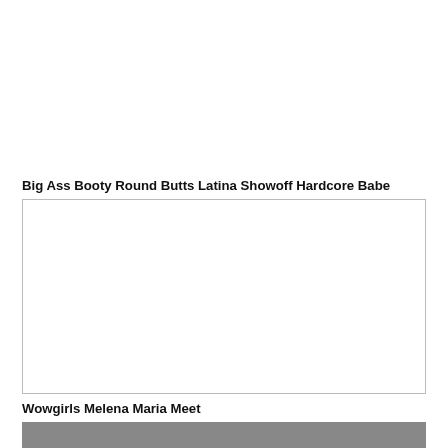Big Ass Booty Round Butts Latina Showoff Hardcore Babe
[Figure (photo): Empty white image placeholder with thin border]
Wowgirls Melena Maria Meet
[Figure (photo): Partial photo visible at bottom of page]